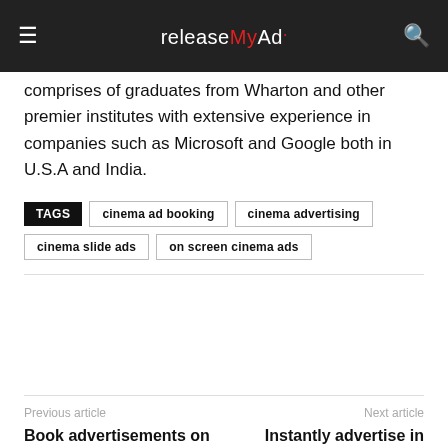releaseMyAd
comprises of graduates from Wharton and other premier institutes with extensive experience in companies such as Microsoft and Google both in U.S.A and India.
TAGS cinema ad booking cinema advertising cinema slide ads on screen cinema ads
Previous article
Book advertisements on Pratiyogita Darpan Hindi Magazine via releaseMyAd
Next article
Instantly advertise in Manorama Thozhilveedhi Magazine via releaseMyAd at